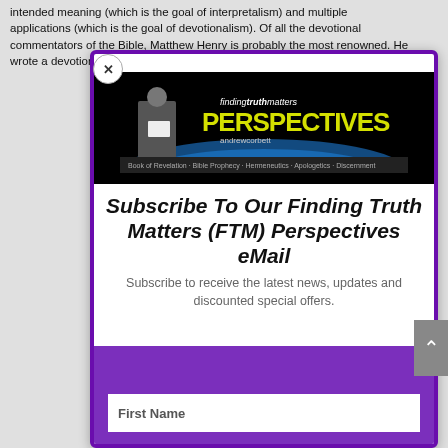intended meaning (which is the goal of interpretalism) and multiple applications (which is the goal of devotionalism). Of all the devotional commentators of the Bible, Matthew Henry is probably the most renowned. He wrote a devotional
[Figure (screenshot): Finding Truth Matters Perspectives banner with Andrew Corbett branding, showing a man in a suit against a globe background]
Subscribe To Our Finding Truth Matters (FTM) Perspectives eMail
Subscribe to receive the latest news, updates and discounted special offers.
First Name